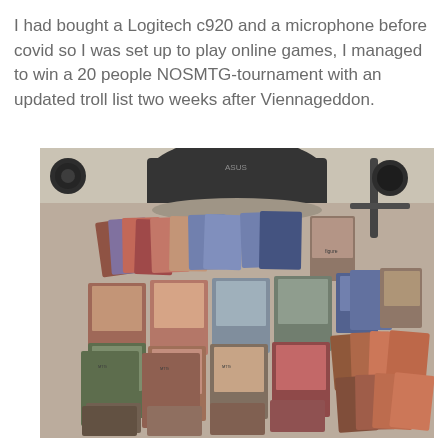I had bought a Logitech c920 and a microphone before covid so I was set up to play online games, I managed to win a 20 people NOSMTG-tournament with an updated troll list two weeks after Viennageddon.
[Figure (photo): A photograph of a desk showing a large spread of Magic: The Gathering cards laid out in rows, with an ASUS monitor visible in the background along with a microphone arm and other desk accessories.]